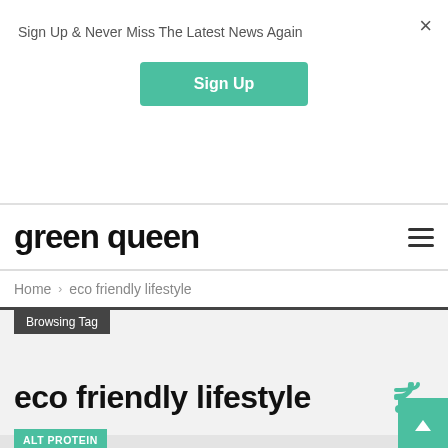Sign Up & Never Miss The Latest News Again
Sign Up
green queen
Home > eco friendly lifestyle
Browsing Tag
eco friendly lifestyle
ALT PROTEIN